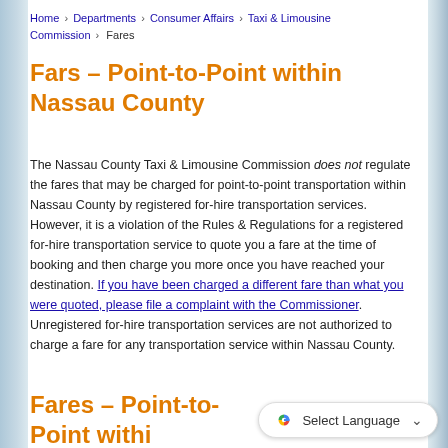Home › Departments › Consumer Affairs › Taxi & Limousine Commission › Fares
Fars – Point-to-Point within Nassau County
The Nassau County Taxi & Limousine Commission does not regulate the fares that may be charged for point-to-point transportation within Nassau County by registered for-hire transportation services. However, it is a violation of the Rules & Regulations for a registered for-hire transportation service to quote you a fare at the time of booking and then charge you more once you have reached your destination. If you have been charged a different fare than what you were quoted, please file a complaint with the Commissioner. Unregistered for-hire transportation services are not authorized to charge a fare for any transportation service within Nassau County.
Fares – Point-to-Point withi... or Village located within Nassau County